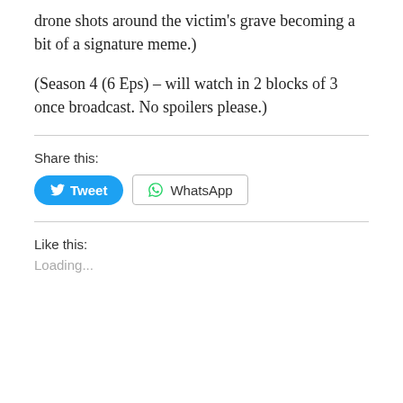drone shots around the victim's grave becoming a bit of a signature meme.)
(Season 4 (6 Eps) – will watch in 2 blocks of 3 once broadcast. No spoilers please.)
Share this:
[Figure (other): Tweet button (blue rounded) and WhatsApp button (outlined with WhatsApp icon)]
Like this:
Loading...